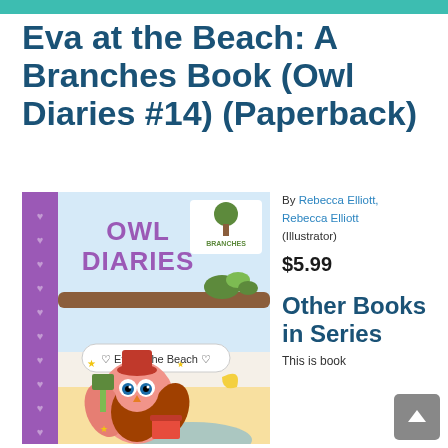Eva at the Beach: A Branches Book (Owl Diaries #14) (Paperback)
[Figure (illustration): Book cover of 'Owl Diaries: Eva at the Beach' showing a cartoon owl wearing a hat at the beach with a shovel and bucket, purple border with hearts, Branches logo top right]
By Rebecca Elliott, Rebecca Elliott (Illustrator)
$5.99
Other Books in Series
This is book